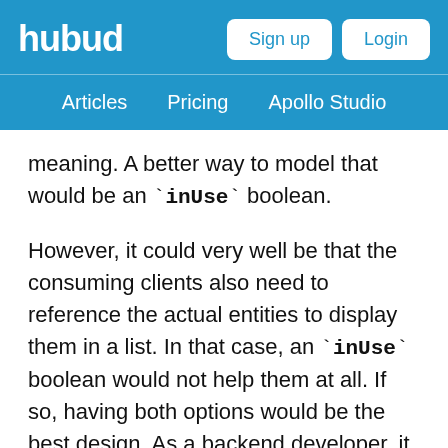hubud | Articles  Pricing  Apollo Studio | Sign up  Login
meaning. A better way to model that would be an `inUse` boolean.
However, it could very well be that the consuming clients also need to reference the actual entities to display them in a list. In that case, an `inUse` boolean would not help them at all. If so, having both options would be the best design. As a backend developer, it can be hard to get insights into how your API is actually being used in the real world